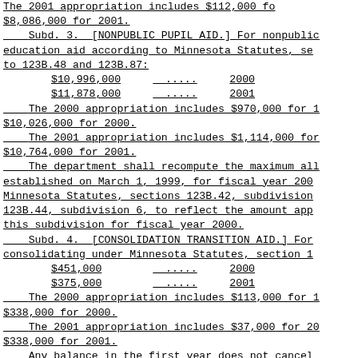The 2001 appropriation includes $112,000 f... $8,086,000 for 2001.
Subd. 3. [NONPUBLIC PUPIL AID.] For nonpublic education aid according to Minnesota Statutes, se to 123B.48 and 123B.87:
$10,996,000 ..... 2000
$11,878,000 ..... 2001
The 2000 appropriation includes $970,000 for 1 $10,026,000 for 2000.
The 2001 appropriation includes $1,114,000 for $10,764,000 for 2001.
The department shall recompute the maximum all established on March 1, 1999, for fiscal year 200 Minnesota Statutes, sections 123B.42, subdivision 123B.44, subdivision 6, to reflect the amount app this subdivision for fiscal year 2000.
Subd. 4. [CONSOLIDATION TRANSITION AID.] For consolidating under Minnesota Statutes, section 1
$451,000 ..... 2000
$375,000 ..... 2001
The 2000 appropriation includes $113,000 for 1 $338,000 for 2000.
The 2001 appropriation includes $37,000 for 20 $338,000 for 2001.
Any balance in the first year does not cancel